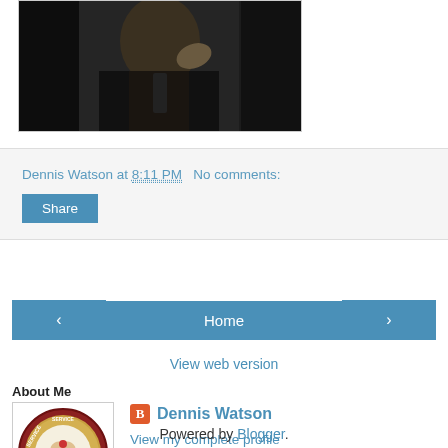[Figure (photo): Cropped photo of a person in dark clothing, appears to be a man in a suit with a tie, partial view showing face and hand]
Dennis Watson at 8:11 PM   No comments:
Share
‹   Home   ›
View web version
About Me
[Figure (logo): Circular badge/seal with crown and hands design, text reads SERVICE SACRIFICE LOYALTY]
Dennis Watson
View my complete profile
Powered by Blogger.